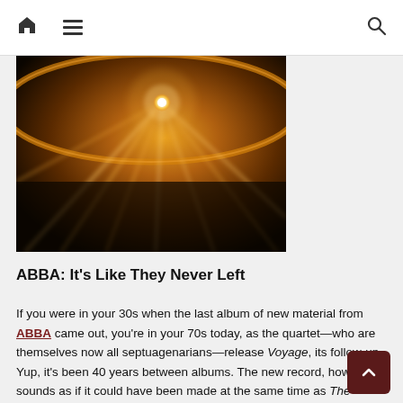Home | Menu | Search
[Figure (photo): Bright sunburst light with golden rays radiating from a bright point against a dark warm-toned planetary or cosmic background]
ABBA: It's Like They Never Left
If you were in your 30s when the last album of new material from ABBA came out, you're in your 70s today, as the quartet—who are themselves now all septuagenarians—release Voyage, its follow-up. Yup, it's been 40 years between albums. The new record, however, sounds as if it could have been made at the same time as The Visitors, its 1981 predecessor—which is good or slightly bad news depending on whether you were mostly hoping for more of that classic ABBA sound or something more distinctive, or the...